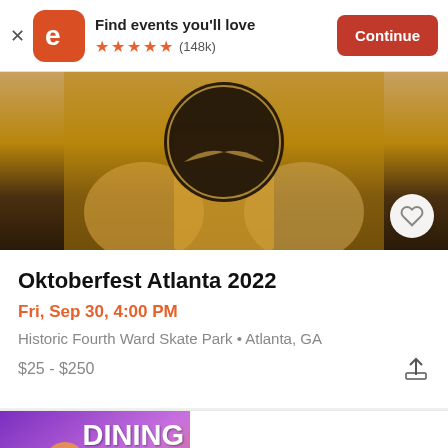Find events you'll love ★★★★★ (148k) Continue
[Figure (photo): Oktoberfest event banner showing beer steins being raised with a dark circular logo overlay, Oktoberfest-themed branding]
Oktoberfest Atlanta 2022
Fri, Sep 30, 4:00 PM
Historic Fourth Ward Skate Park • Atlanta, GA
$25 - $250
[Figure (photo): Ad banner for Dining in the Dark event showing a person smiling on a purple/orange gradient background with 'Dining in the Dark' text and 'Tickets: EARLY BIRD PRICE:' on white right side]